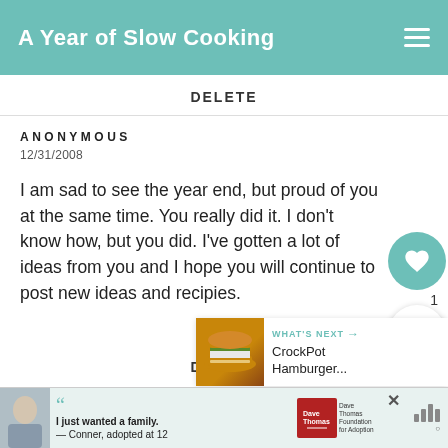A Year of Slow Cooking
DELETE
ANONYMOUS
12/31/2008
I am sad to see the year end, but proud of you at the same time. You really did it. I don't know how, but you did. I've gotten a lot of ideas from you and I hope you will continue to post new ideas and recipies.
DELETE
[Figure (infographic): WHAT'S NEXT arrow label with CrockPot Hamburger... thumbnail showing a burger image]
[Figure (infographic): Advertisement banner: Dave Thomas Foundation for Adoption - I just wanted a family. — Conner, adopted at 12]